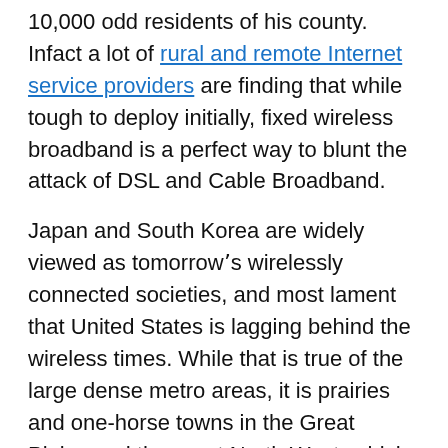10,000 odd residents of his county. Infact a lot of rural and remote Internet service providers are finding that while tough to deploy initially, fixed wireless broadband is a perfect way to blunt the attack of DSL and Cable Broadband.
Japan and South Korea are widely viewed as tomorrow's wirelessly connected societies, and most lament that United States is lagging behind the wireless times. While that is true of the large dense metro areas, it is prairies and one-horse towns in the Great Plains and the great North West, which have become unwired. Chiloquin is a microcosm of a future where wireless Internet access will be as universal as allergies in the summertime. Rural communities in the Northwestern United States and some parts of the Great Plains are now banking on wireless technologies to get their citizens connected. Just like Always-On, there are dozen-odd little companies